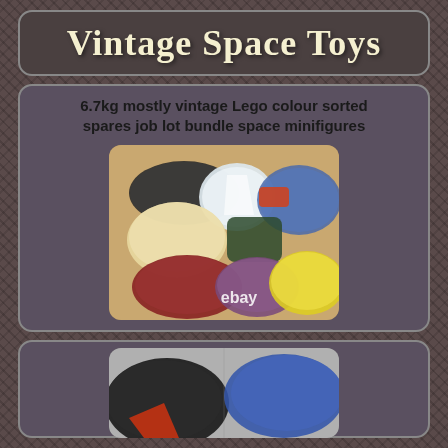Vintage Space Toys
6.7kg mostly vintage Lego colour sorted spares job lot bundle space minifigures
[Figure (photo): Photo of multiple zip-lock bags filled with colour-sorted vintage Lego pieces on a wooden surface, with an eBay watermark]
[Figure (photo): Partial photo of more bags of vintage Lego pieces, partially cut off at bottom of page]